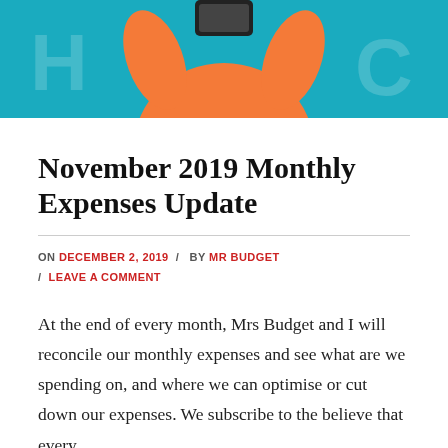[Figure (illustration): Hero illustration showing a person holding a smartphone against a teal/blue background with orange figure graphic]
November 2019 Monthly Expenses Update
ON DECEMBER 2, 2019 / BY MR BUDGET / LEAVE A COMMENT
At the end of every month, Mrs Budget and I will reconcile our monthly expenses and see what are we spending on, and where we can optimise or cut down our expenses. We subscribe to the believe that every